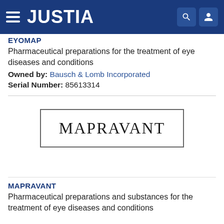JUSTIA
EYOMAP
Pharmaceutical preparations for the treatment of eye diseases and conditions
Owned by: Bausch & Lomb Incorporated
Serial Number: 85613314
[Figure (logo): MAPRAVANT trademark logo text inside a rectangular border]
MAPRAVANT
Pharmaceutical preparations and substances for the treatment of eye diseases and conditions